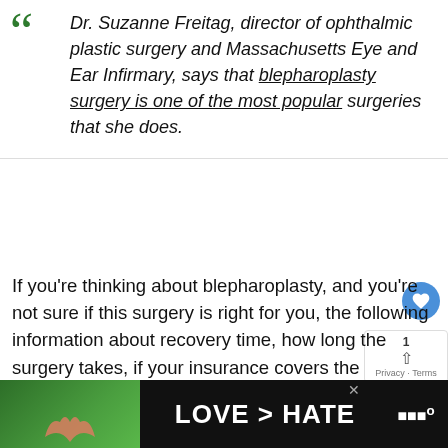Dr. Suzanne Freitag, director of ophthalmic plastic surgery and Massachusetts Eye and Ear Infirmary, says that blepharoplasty surgery is one of the most popular surgeries that she does.
If you're thinking about blepharoplasty, and you're not sure if this surgery is right for you, the following information about recovery time, how long the surgery takes, if your insurance covers the procedure, and to a few common questions might help you decide.
[Figure (other): Advertisement banner at bottom: hands forming heart shape on green background, text 'LOVE > HATE', media brand logo]